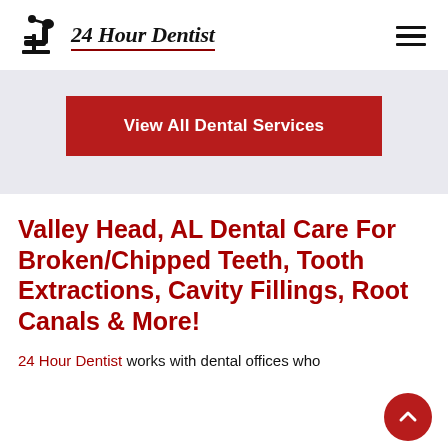24 Hour Dentist
[Figure (logo): 24 Hour Dentist logo with dental chair icon and italic serif text, underlined in dark red]
[Figure (other): Hamburger menu icon (three horizontal lines)]
[Figure (other): Red button: View All Dental Services on grey background banner]
Valley Head, AL Dental Care For Broken/Chipped Teeth, Tooth Extractions, Cavity Fillings, Root Canals & More!
24 Hour Dentist works with dental offices who